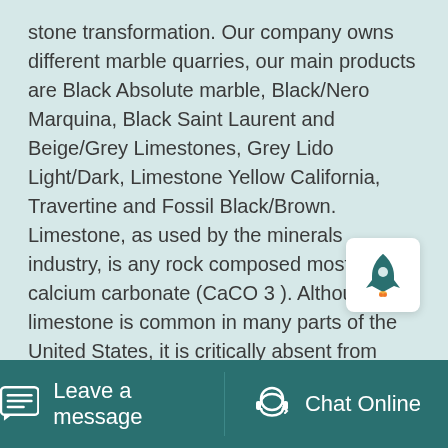stone transformation. Our company owns different marble quarries, our main products are Black Absolute marble, Black/Nero Marquina, Black Saint Laurent and Beige/Grey Limestones, Grey Lido Light/Dark, Limestone Yellow California, Travertine and Fossil Black/Brown. Limestone, as used by the minerals industry, is any rock composed mostly of calcium carbonate (CaCO 3 ). Although limestone is common in many parts of the United States, it is critically absent from some. Limestone is used to produce Portland cement, as aggregate in concrete and asphalt, and in an enormous array of other products, making it a ...
[Figure (other): White popup box with a rocket/launch icon inside]
Leave a message   Chat Online